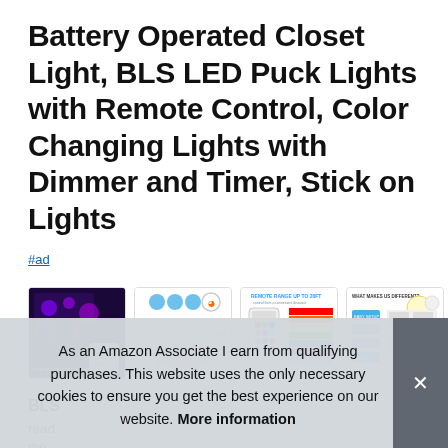Battery Operated Closet Light, BLS LED Puck Lights with Remote Control, Color Changing Lights with Dimmer and Timer, Stick on Lights
#ad
[Figure (photo): Four product thumbnail images: 1) Purple/blue LED lights in a venue with remote control, 2) White LED puck light held in a hand showing size, 3) Remote control features and color chart, 4) What makes us different comparison chart]
BLS
read the the questions about the touch light. Also works as emergency
As an Amazon Associate I earn from qualifying purchases. This website uses the only necessary cookies to ensure you get the best experience on our website. More information